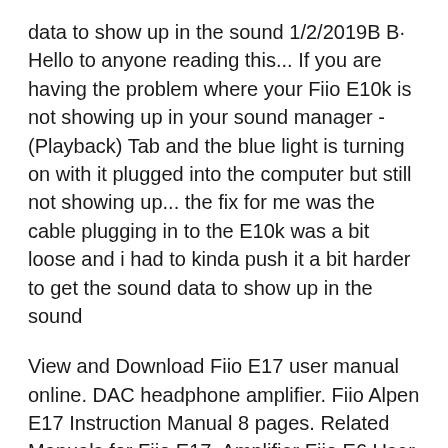data to show up in the sound 1/2/2019B B· Hello to anyone reading this... If you are having the problem where your Fiio E10k is not showing up in your sound manager - (Playback) Tab and the blue light is turning on with it plugged into the computer but still not showing up... the fix for me was the cable plugging in to the E10k was a bit loose and i had to kinda push it a bit harder to get the sound data to show up in the sound
View and Download Fiio E17 user manual online. DAC headphone amplifier. Fiio Alpen E17 Instruction Manual 8 pages. Related Manuals for Fiio E17. Amplifier Fiio E6 User Manual (4 pages) Amplifier Fiio E9 User Manual. Desktop headphone amplifier (4 pages) Amplifier Fiio